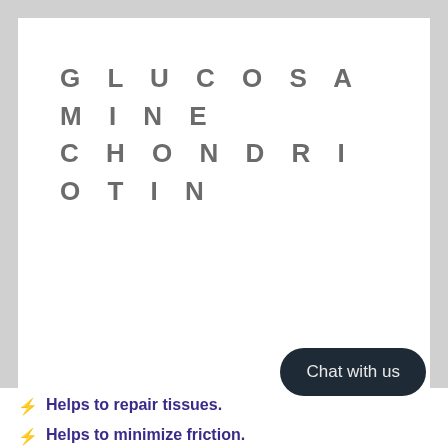GLUCOSAMINE CHONDRIOTIN
Helps to repair tissues.
Helps to minimize friction.